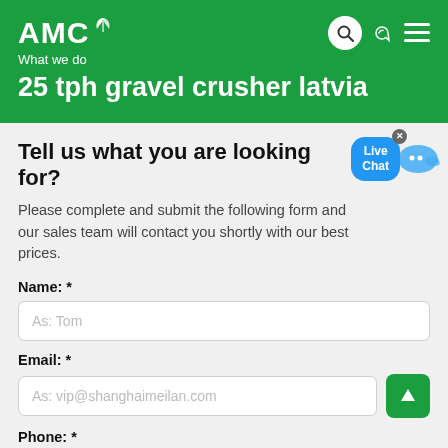AMC — What we do
25 tph gravel crusher latvia
Tell us what you are looking for?
Please complete and submit the following form and our sales team will contact you shortly with our best prices.
Name: *
As: Tom
Email: *
As: vip@shanghaimeilan.com
Phone: *
With Country Code